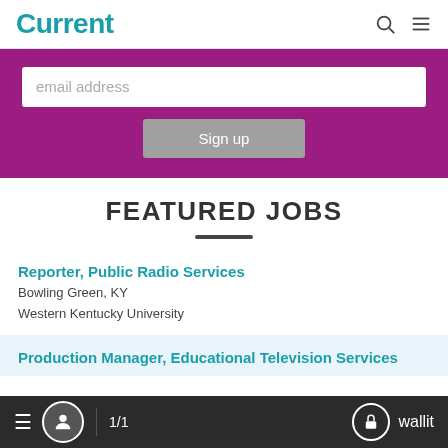Current
email address
Sign up
FEATURED JOBS
Reporter, Public Radio Services
Bowling Green, KY
Western Kentucky University
Production Manager, Educational Television Services
1/1  wallit